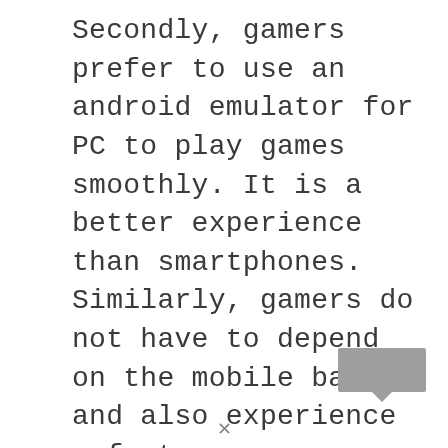Secondly, gamers prefer to use an android emulator for PC to play games smoothly. It is a better experience than smartphones. Similarly, gamers do not have to depend on the mobile backup and also experience a faster processor and a larger screen.